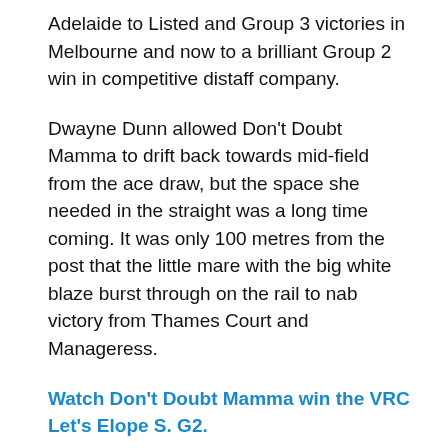Adelaide to Listed and Group 3 victories in Melbourne and now to a brilliant Group 2 win in competitive distaff company.
Dwayne Dunn allowed Don't Doubt Mamma to drift back towards mid-field from the ace draw, but the space she needed in the straight was a long time coming. It was only 100 metres from the post that the little mare with the big white blaze burst through on the rail to nab victory from Thames Court and Manageress.
Watch Don't Doubt Mamma win the VRC Let's Elope S. G2.
Trainer Tony McEvoy said, "Dwayne didn't have many other options and he showed great patience. She's not very big and had 58 kilos on her back but he didn't panic and trusted her. She's a real pro that loves winning."